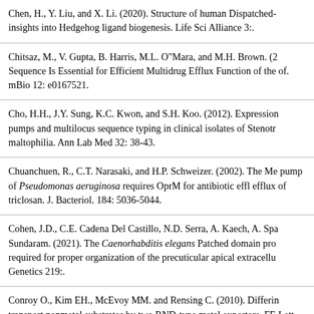Chen, H., Y. Liu, and X. Li. (2020). Structure of human Dispatched-insights into Hedgehog ligand biogenesis. Life Sci Alliance 3:.
Chitsaz, M., V. Gupta, B. Harris, M.L. O"Mara, and M.H. Brown. (2... Sequence Is Essential for Efficient Multidrug Efflux Function of the of. mBio 12: e0167521.
Cho, H.H., J.Y. Sung, K.C. Kwon, and S.H. Koo. (2012). Expression pumps and multilocus sequence typing in clinical isolates of Stenotr maltophilia. Ann Lab Med 32: 38-43.
Chuanchuen, R., C.T. Narasaki, and H.P. Schweizer. (2002). The Me pump of Pseudomonas aeruginosa requires OprM for antibiotic effl efflux of triclosan. J. Bacteriol. 184: 5036-5044.
Cohen, J.D., C.E. Cadena Del Castillo, N.D. Serra, A. Kaech, A. Spa Sundaram. (2021). The Caenorhabditis elegans Patched domain pro required for proper organization of the precuticular apical extracellu Genetics 219:.
Conroy O., Kim EH., McEvoy MM. and Rensing C. (2010). Differin transport nonmetal substrates by two RND-type metal exporters. FE Lett. 308(2):115-22.